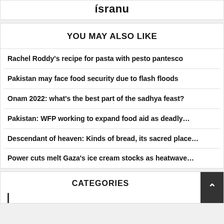ísranu
YOU MAY ALSO LIKE
Rachel Roddy's recipe for pasta with pesto pantesco
Pakistan may face food security due to flash floods
Onam 2022: what's the best part of the sadhya feast?
Pakistan: WFP working to expand food aid as deadly…
Descendant of heaven: Kinds of bread, its sacred place…
Power cuts melt Gaza's ice cream stocks as heatwave…
CATEGORIES